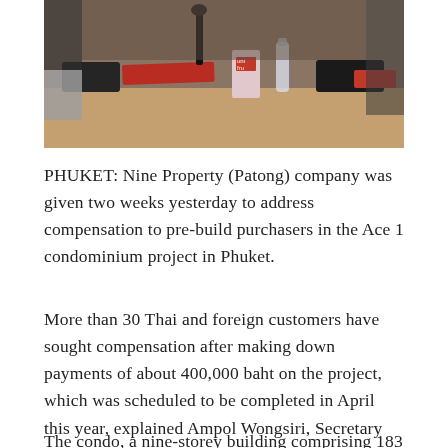[Figure (photo): A meeting room scene with people seated at a wooden table with microphones, water bottles, a red juice carton, red books/folders, and other meeting materials. Partially visible attendees on the left and right edges.]
PHUKET: Nine Property (Patong) company was given two weeks yesterday to address compensation to pre-build purchasers in the Ace 1 condominium project in Phuket.
More than 30 Thai and foreign customers have sought compensation after making down payments of about 400,000 baht on the project, which was scheduled to be completed in April this year, explained Ampol Wongsiri, Secretary General of the Consumer Protection Board (CPB) at a meeting at Phuket Provincial Hall.
The condo, a nine-storey building comprising 183